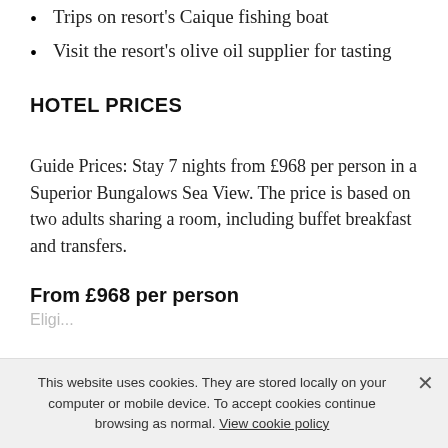Trips on resort's Caique fishing boat
Visit the resort's olive oil supplier for tasting
HOTEL PRICES
Guide Prices: Stay 7 nights from £968 per person in a Superior Bungalows Sea View. The price is based on two adults sharing a room, including buffet breakfast and transfers.
From £968 per person
This website uses cookies. They are stored locally on your computer or mobile device. To accept cookies continue browsing as normal. View cookie policy